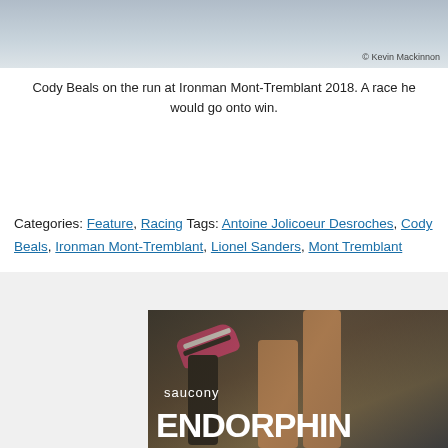[Figure (photo): Partial view of runner at Ironman Mont-Tremblant 2018 with photo credit to Kevin Mackinnon]
Cody Beals on the run at Ironman Mont-Tremblant 2018. A race he would go onto win.
Categories: Feature, Racing Tags: Antoine Jolicoeur Desroches, Cody Beals, Ironman Mont-Tremblant, Lionel Sanders, Mont Tremblant
[Figure (photo): Saucony Endorphin advertisement showing runner's legs with pink shoes]